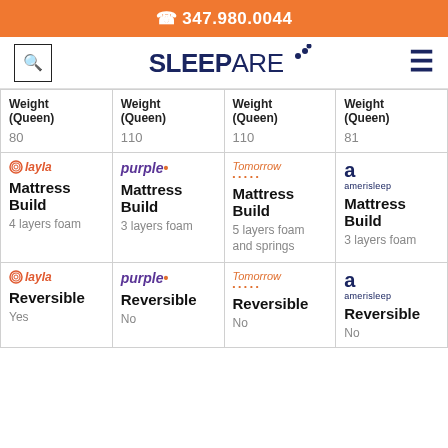☎ 347.980.0044
[Figure (logo): Sleepare logo with search icon and hamburger menu]
| Layla | Purple | Tomorrow | Amerisleep |
| --- | --- | --- | --- |
| Weight (Queen)
80 | Weight (Queen)
110 | Weight (Queen)
110 | Weight (Queen)
81 |
| Mattress Build
4 layers foam | Mattress Build
3 layers foam | Mattress Build
5 layers foam and springs | Mattress Build
3 layers foam |
| Reversible
Yes | Reversible
No | Reversible
No | Reversible
No |